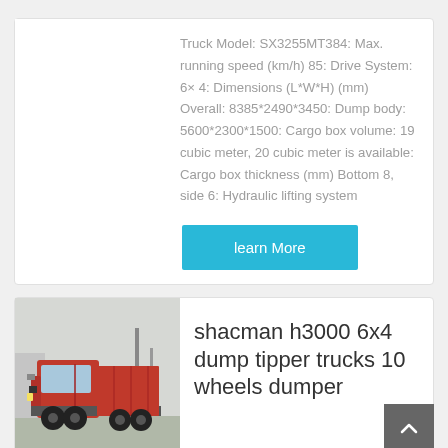Truck Model: SX3255MT384: Max. running speed (km/h) 85: Drive System: 6× 4: Dimensions (L*W*H) (mm) Overall: 8385*2490*3450: Dump body: 5600*2300*1500: Cargo box volume: 19 cubic meter, 20 cubic meter is available: Cargo box thickness (mm) Bottom 8, side 6: Hydraulic lifting system
learn More
[Figure (photo): Red Shacman dump truck / tractor unit parked outdoors]
shacman h3000 6x4 dump tipper trucks 10 wheels dumper